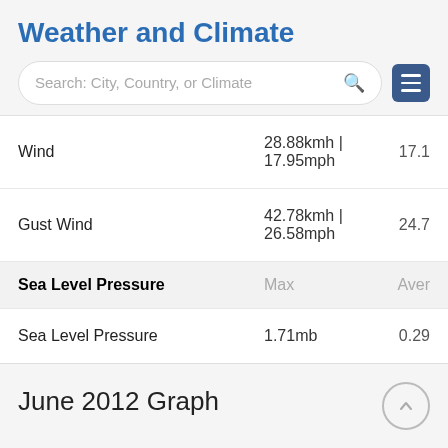Weather and Climate
|  | Max | Aver |
| --- | --- | --- |
| Wind | 28.88kmh | 17.95mph | 17.1 |
| Gust Wind | 42.78kmh | 26.58mph | 24.7 |
| Sea Level Pressure | Max | Aver |
| Sea Level Pressure | 1.71mb | 0.29 |
June 2012 Graph